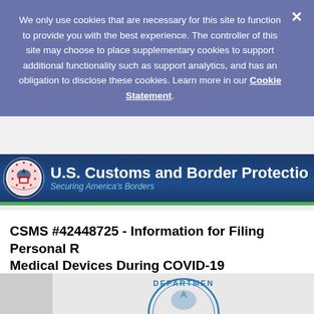We only use cookies that are necessary for this site to function to provide you with the best experience. The controller of this site may choose to place supplementary cookies to support additional functionality such as support analytics, and has an obligation to disclose these cookies. Learn more in our Cookie Statement.
[Figure (logo): U.S. Customs and Border Protection logo with DHS seal and text 'Securing America's Borders']
CSMS #42448725 - Information for Filing Personal R... Medical Devices During COVID-19
U.S. Customs and Border Protection sent this bulletin at 04/21/2020 ...
[Figure (logo): Partial Department seal/logo visible at bottom of page]